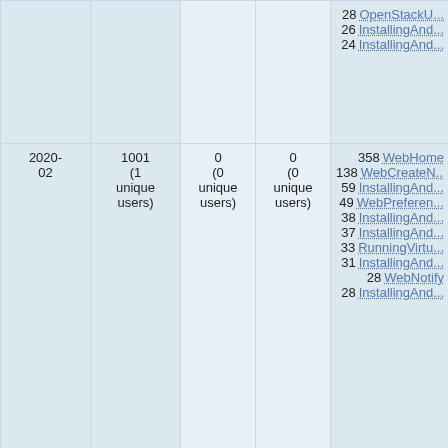| Period | Views | Edits | Contributors | Top pages |
| --- | --- | --- | --- | --- |
|  |  |  |  | 28 OpenStackU...
26 InstallingAnd...
24 InstallingAnd... |
| 2020-02 | 1001 (1 unique users) | 0 (0 unique users) | 0 (0 unique users) | 358 WebHome
138 WebCreateN...
59 InstallingAnd...
49 WebPreferen...
38 InstallingAnd...
37 InstallingAnd...
33 RunningVirtu...
31 InstallingAnd...
28 WebNotify
28 InstallingAnd... |
| 2020-01 | 1029 (1 unique users) | 0 (0 unique users) | 0 (0 unique users) | 248 WebHome
233 WebPreferen...
124 WebCreateN...
41 InstallingAnd...
34 WebChanges...
32 InstallingAnd...
26 InstallingAnd...
26 InstallingAnd...
25 InstallingAnd...
23 OpenStackU... |